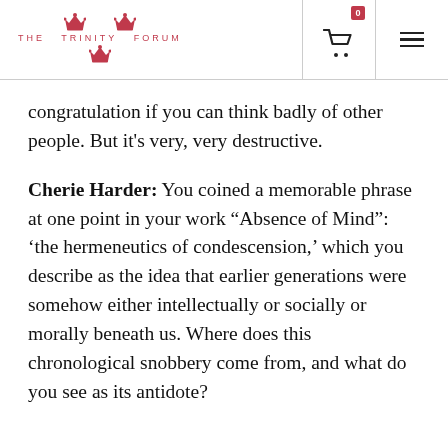THE TRINITY FORUM
congratulation if you can think badly of other people. But it’s very, very destructive.
Cherie Harder: You coined a memorable phrase at one point in your work “Absence of Mind”: ‘the hermeneutics of condescension,’ which you describe as the idea that earlier generations were somehow either intellectually or socially or morally beneath us. Where does this chronological snobbery come from, and what do you see as its antidote?